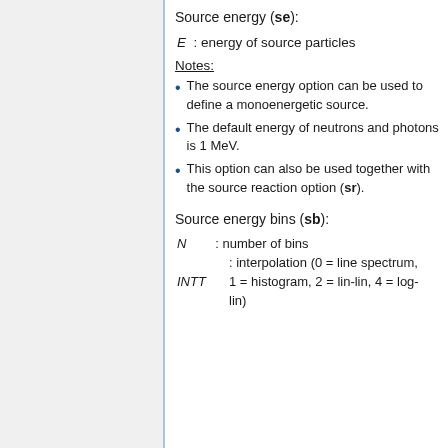Source energy (se):
Notes:
The source energy option can be used to define a monoenergetic source.
The default energy of neutrons and photons is 1 MeV.
This option can also be used together with the source reaction option (sr).
Source energy bins (sb):